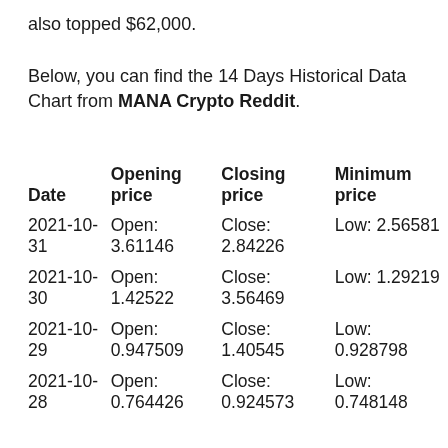also topped $62,000.
Below, you can find the 14 Days Historical Data Chart from MANA Crypto Reddit.
| Date | Opening price | Closing price | Minimum price |
| --- | --- | --- | --- |
| 2021-10-31 | Open: 3.61146 | Close: 2.84226 | Low: 2.56581 |
| 2021-10-30 | Open: 1.42522 | Close: 3.56469 | Low: 1.29219 |
| 2021-10-29 | Open: 0.947509 | Close: 1.40545 | Low: 0.928798 |
| 2021-10-28 | Open: 0.764426 | Close: 0.924573 | Low: 0.748148 |